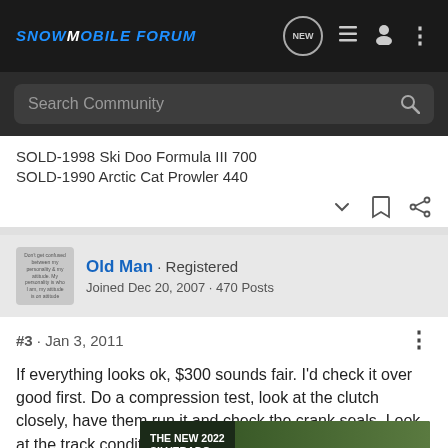Snowmobile Forum
Search Community
SOLD-1998 Ski Doo Formula III 700
SOLD-1990 Arctic Cat Prowler 440
Old Man · Registered
Joined Dec 20, 2007 · 470 Posts
#3 · Jan 3, 2011
If everything looks ok, $300 sounds fair. I'd check it over good first. Do a compression test, look at the clutch closely, have them run it and check the crank seals. Look at the track condition, suspension and sliders. Make sure the exhaust is sound. Don't want to buy it...
[Figure (screenshot): Advertisement for The New 2022 Silverado by Chevrolet with Explore button]